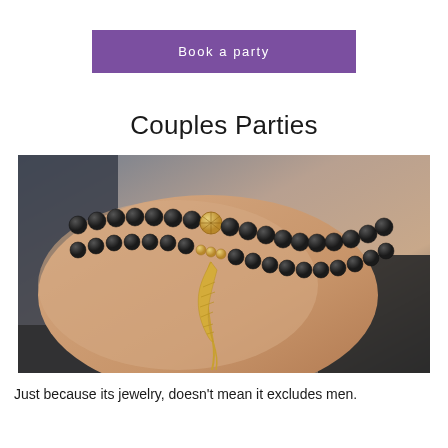Book a party
Couples Parties
[Figure (photo): Close-up of a wrist wearing two black matte bead bracelets with a gold feather charm pendant and a gold disco-ball style bead accent.]
Just because its jewelry, doesn't mean it excludes men.